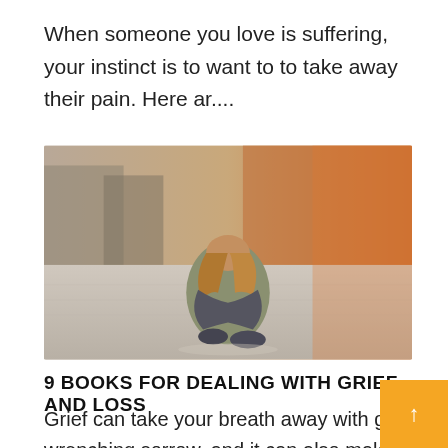When someone you love is suffering, your instinct is to want to to take away their pain. Here ar....
[Figure (photo): A woman sitting on the ground hugging her knees with her head down, appearing to be in grief or distress. Warm orange-tinted background with blurred urban scenery.]
9 BOOKS FOR DEALING WITH GRIEF AND LOSS
Grief can take your breath away with gut-wrenching sorrow, and it can also make you cherish the